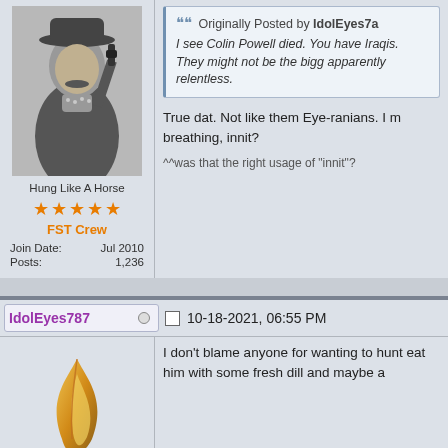[Figure (photo): Black and white vintage photo of a man with a mustache holding a gun, wearing a hat and scarf]
Hung Like A Horse
[Figure (other): Five orange star rating icons]
FST Crew
Join Date: Jul 2010
Posts: 1,236
Originally Posted by IdolEyes7a
I see Colin Powell died. You have Iraqis. They might not be the bigg apparently relentless.
True dat. Not like them Eye-ranians. I m breathing, innit?
^^was that the right usage of "innit"?
IdolEyes787
10-18-2021, 06:55 PM
[Figure (illustration): Golden feather or flame avatar icon]
Persona non grata
[Figure (other): Five purple star rating icons]
Retired Staff
Join Date: Feb 2008
Location: State of Grace
I don't blame anyone for wanting to hunt eat him with some fresh dill and maybe a